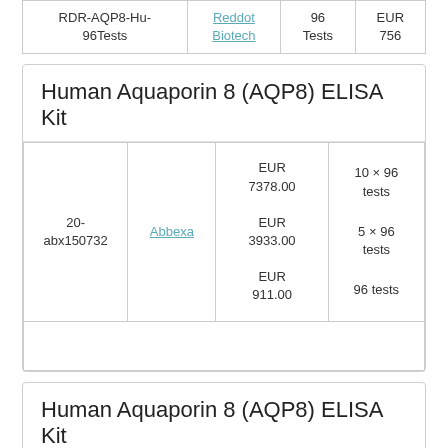| Catalog | Supplier | Quantity | Price |
| --- | --- | --- | --- |
| RDR-AQP8-Hu-96Tests | Reddot Biotech | 96 Tests | EUR 756 |
Human Aquaporin 8 (AQP8) ELISA Kit
| Catalog | Supplier | Price | Quantity |
| --- | --- | --- | --- |
| 20-abx150732 | Abbexa | EUR 7378.00 / EUR 3933.00 / EUR 911.00 | 10 × 96 tests / 5 × 96 tests / 96 tests |
Human Aquaporin 8 (AQP8) ELISA Kit